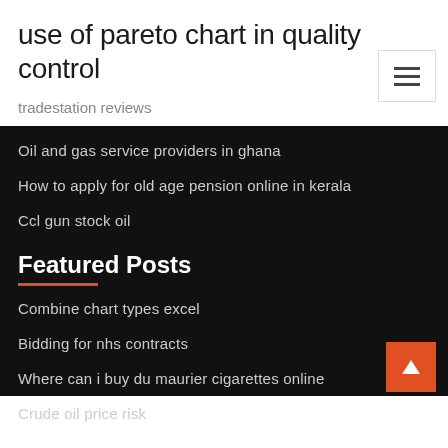use of pareto chart in quality control
tradestation reviews
Oil and gas service providers in ghana
How to apply for old age pension online in kerala
Ccl gun stock oil
Featured Posts
Combine chart types excel
Bidding for nhs contracts
Where can i buy du maurier cigarettes online
Crude oil price risk